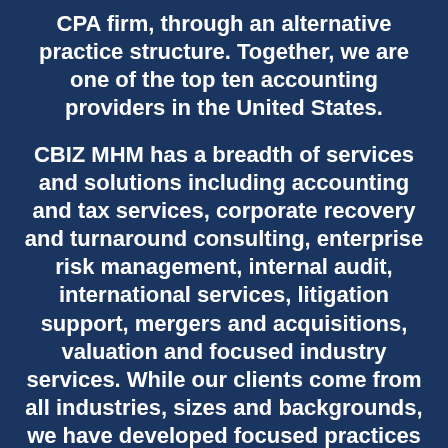CPA firm, through an alternative practice structure. Together, we are one of the top ten accounting providers in the United States.
CBIZ MHM has a breadth of services and solutions including accounting and tax services, corporate recovery and turnaround consulting, enterprise risk management, internal audit, international services, litigation support, mergers and acquisitions, valuation and focused industry services. While our clients come from all industries, sizes and backgrounds, we have developed focused practices in not-for-profit and education, manufacturing, construction, family-owned business, healthcare, retail and hospitality, financial and legal